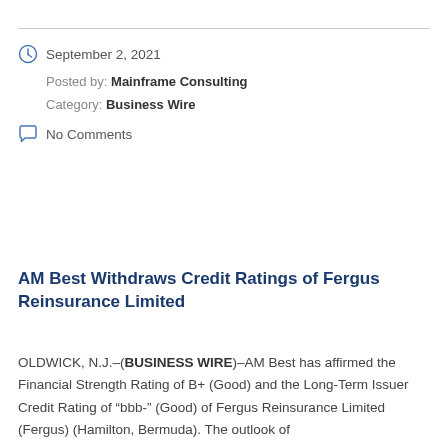September 2, 2021
Posted by: Mainframe Consulting
Category: Business Wire
No Comments
AM Best Withdraws Credit Ratings of Fergus Reinsurance Limited
OLDWICK, N.J.–(BUSINESS WIRE)–AM Best has affirmed the Financial Strength Rating of B+ (Good) and the Long-Term Issuer Credit Rating of "bbb-" (Good) of Fergus Reinsurance Limited (Fergus) (Hamilton, Bermuda). The outlook of